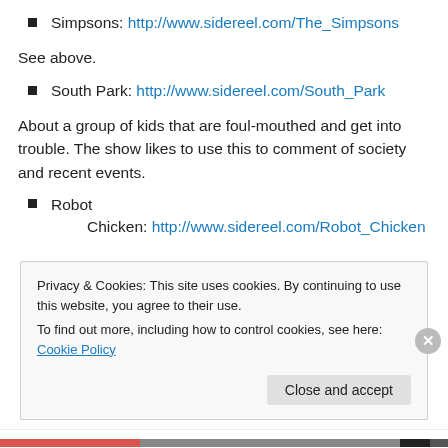Simpsons: http://www.sidereel.com/The_Simpsons
See above.
South Park: http://www.sidereel.com/South_Park
About a group of kids that are foul-mouthed and get into trouble. The show likes to use this to comment of society and recent events.
Robot Chicken: http://www.sidereel.com/Robot_Chicken
Privacy & Cookies: This site uses cookies. By continuing to use this website, you agree to their use. To find out more, including how to control cookies, see here: Cookie Policy